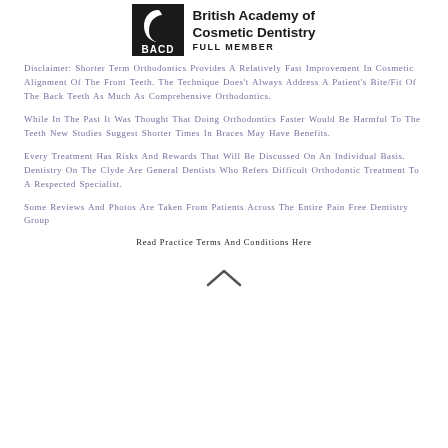[Figure (logo): British Academy of Cosmetic Dentistry (BACD) Full Member logo with crescent moon symbol above BACD text in a square badge, and text 'British Academy of Cosmetic Dentistry FULL MEMBER' to the right]
Disclaimer: Shorter Term Orthodontics Provides A Relatively Fast Improvement In Cosmetic Alignment Of The Front Teeth. The Technique Does't Always Address A Patient's Bite/Fit Of The Back Teeth As Much As Comprehensive Orthodontics.
While In The Past It Was Thought That Doing Orthodontics Faster Would Be Harmful To The Teeth New Studies Suggest Shorter Times In Braces May Have Benefits.
Every Treatment Has Risks And Rewards That Will Be Discussed On An Individual Basis. Dentistry On The Clyde Are General Dentists Who Refers Difficult Orthodontic Treatment To A Respected Specialist.
Some Reviews And Photos Are Taken From Patients Across The Entire Pain Free Dentistry Group
Read Practice Terms And Conditions Here
[Figure (illustration): Upward-pointing chevron/caret symbol]